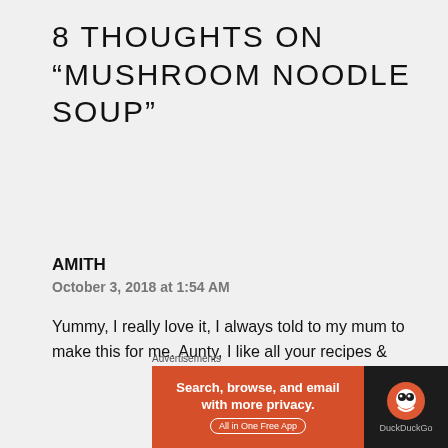8 THOUGHTS ON “MUSHROOM NOODLE SOUP”
AMITH
October 3, 2018 at 1:54 AM
Yummy, I really love it, I always told to my mum to make this for me. Aunty, I like all your recipes & freshly baked cakes
Like
Reply
[Figure (screenshot): DuckDuckGo advertisement banner with red left section reading 'Search, browse, and email with more privacy. All in One Free App' and dark right section with DuckDuckGo logo]